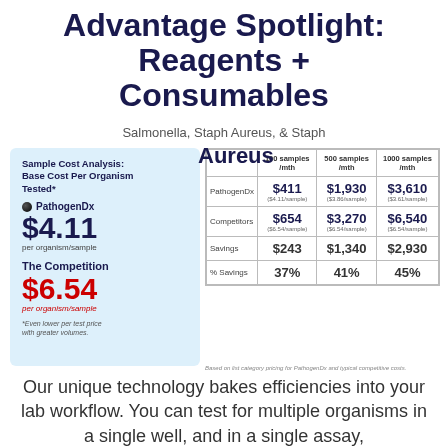Advantage Spotlight:
Reagents +
Consumables
Salmonella, Staph Aureus, & Staph
Aureus
|  | 100 samples /mth | 500 samples /mth | 1000 samples /mth |
| --- | --- | --- | --- |
| PathogenDx | $411 ($4.11/sample) | $1,930 ($3.86/sample) | $3,610 ($3.61/sample) |
| Competitors | $654 ($6.54/sample) | $3,270 ($6.54/sample) | $6,540 ($6.54/sample) |
| Savings | $243 | $1,340 | $2,930 |
| % Savings | 37% | 41% | 45% |
Sample Cost Analysis: Base Cost Per Organism Tested*
PathogenDx $4.11 per organism/sample
The Competition $6.54 per organism/sample
*Even lower per test price with greater volumes.
Based on list category pricing for PathogenDx and typical competitive costs.
Our unique technology bakes efficiencies into your lab workflow. You can test for multiple organisms in a single well, and in a single assay,